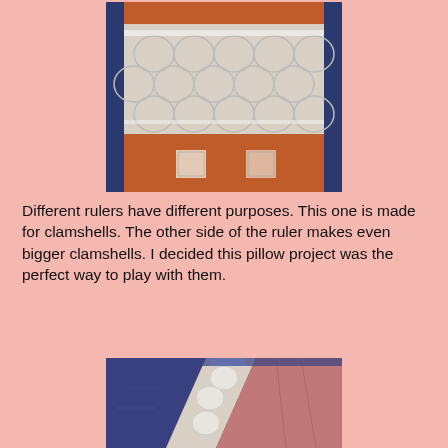[Figure (photo): Close-up photograph of a quilt with clamshell ruler pattern in white/cream fabric against orange and blue-patterned fabric borders, viewed from above.]
Different rulers have different purposes. This one is made for clamshells. The other side of the ruler makes even bigger clamshells. I decided this pillow project was the perfect way to play with them.
[Figure (photo): Angled close-up photograph of a quilt showing clamshell quilting pattern in white/cream on orange fabric, with blue patterned fabric strips and pink/mauve quilted sections visible.]